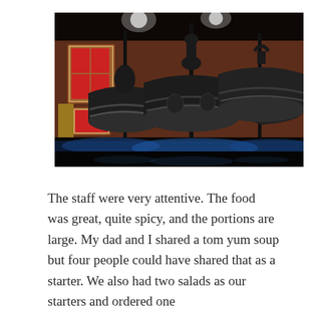[Figure (photo): Dark interior photograph of large ornate bronze bells displayed in a dimly lit museum or restaurant setting, with blue accent lighting at the base and decorative framed artwork visible on the warm brown walls in the background.]
The staff were very attentive. The food was great, quite spicy, and the portions are large. My dad and I shared a tom yum soup but four people could have shared that as a starter. We also had two salads as our starters and ordered one